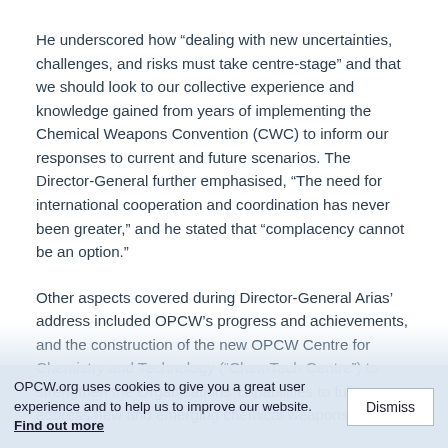He underscored how “dealing with new uncertainties, challenges, and risks must take centre-stage” and that we should look to our collective experience and knowledge gained from years of implementing the Chemical Weapons Convention (CWC) to inform our responses to current and future scenarios. The Director-General further emphasised, “The need for international cooperation and coordination has never been greater,” and he stated that “complacency cannot be an option.”
Other aspects covered during Director-General Arias’ address included OPCW’s progress and achievements, and the construction of the new OPCW Centre for Chemistry and Technology (“ChemTech Centre”) to strengthen the Organisations’ capabilities to fully address new and emerging chemical weapons
OPCW.org uses cookies to give you a great user experience and to help us to improve our website. Find out more